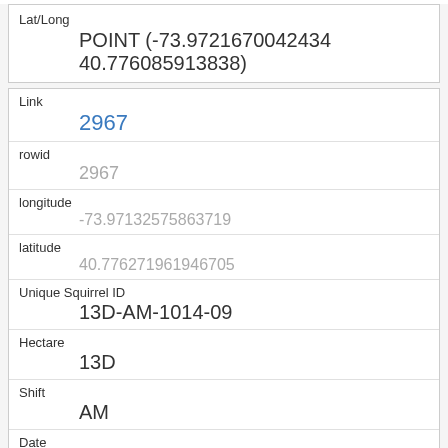| Field | Value |
| --- | --- |
| Lat/Long | POINT (-73.9721670042434 40.776085913838) |
| Link | 2967 |
| rowid | 2967 |
| longitude | -73.97132575863719 |
| latitude | 40.776271961946705 |
| Unique Squirrel ID | 13D-AM-1014-09 |
| Hectare | 13D |
| Shift | AM |
| Date | 10142018 |
| Hectare Squirrel Number |  |